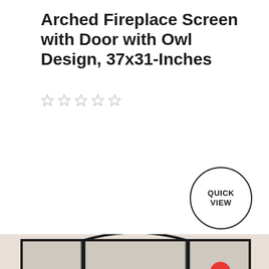Arched Fireplace Screen with Door with Owl Design, 37x31-Inches
[Figure (other): Five gray empty star rating icons in a horizontal row]
[Figure (other): Quick View circular button with black border and bold text 'QUICK VIEW']
[Figure (photo): Arched three-panel fireplace screen with mesh and a silhouette design of a hunter shooting at flying ducks with cattails in the foreground. An overlay showing a red notification badge with '0' and a list icon panel with red and pink squares, plus a red help/question circle icon.]